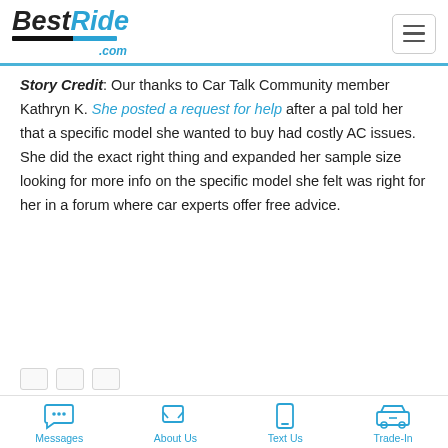BestRide.com
Story Credit: Our thanks to Car Talk Community member Kathryn K. She posted a request for help after a pal told her that a specific model she wanted to buy had costly AC issues. She did the exact right thing and expanded her sample size looking for more info on the specific model she felt was right for her in a forum where car experts offer free advice.
Messages  About Us  Text Us  Trade-In